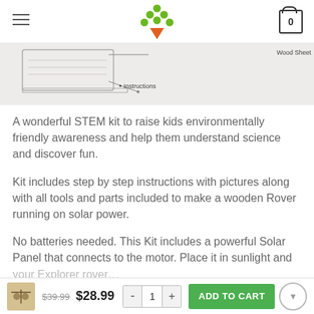Navigation header with hamburger menu, tree logo, and cart icon showing 0
[Figure (illustration): Partial product image showing a diagram with labels 'Wood Sheet' and 'Instructions' on a light grey background]
A wonderful STEM kit to raise kids environmentally friendly awareness and help them understand science and discover fun.
Kit includes step by step instructions with pictures along with all tools and parts included to make a wooden Rover running on solar power.
No batteries needed. This Kit includes a powerful Solar Panel that connects to the motor. Place it in sunlight and your Explorer rover…
$39.99 $28.99 - 1 + ADD TO CART